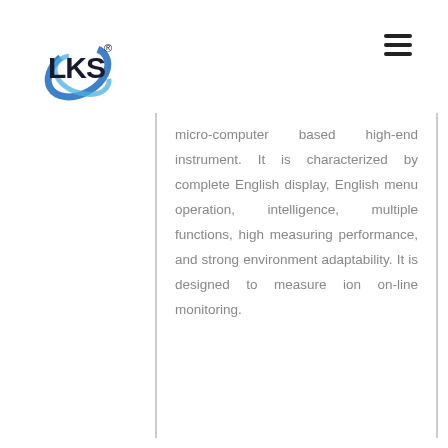[Figure (logo): LKS logo with blue circular swoosh graphic and registered trademark symbol]
micro-computer based high-end instrument. It is characterized by complete English display, English menu operation, intelligence, multiple functions, high measuring performance, and strong environment adaptability. It is designed to measure ion on-line monitoring.